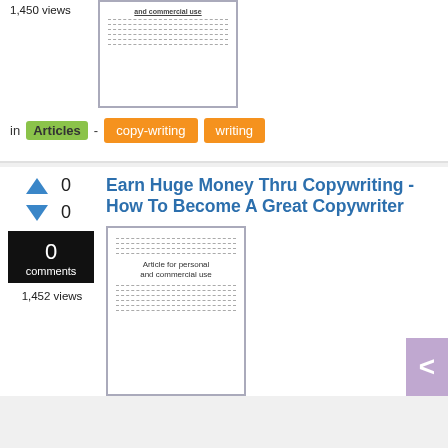1,450 views
[Figure (illustration): Document thumbnail showing lines of text and 'and commercial use' heading]
in Articles - copy-writing writing
Earn Huge Money Thru Copywriting - How To Become A Great Copywriter
0 (upvote) 0 (downvote)
0 comments
1,452 views
[Figure (illustration): Document thumbnail with lines of text and 'Article for personal and commercial use' label]